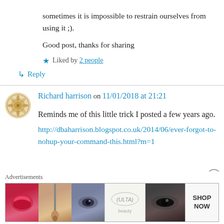sometimes it is impossible to restrain ourselves from using it ;).
Good post, thanks for sharing
Liked by 2 people
Reply
Richard harrison on 11/01/2018 at 21:21
Reminds me of this little trick I posted a few years ago.
http://dbaharrison.blogspot.co.uk/2014/06/ever-forgot-to-nohup-your-command-this.html?m=1
Advertisements
[Figure (photo): Advertisement banner showing beauty/makeup products with ULTA logo and SHOP NOW text]